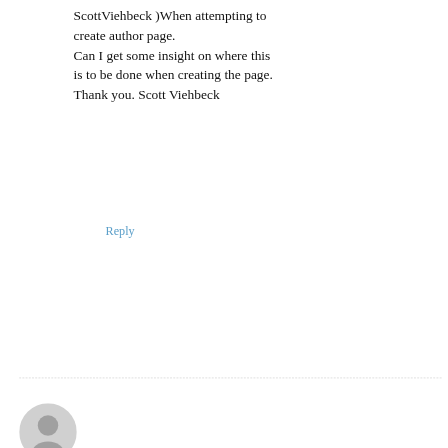ScottViehbeck )When attempting to create author page.
Can I get some insight on where this is to be done when creating the page.
Thank you. Scott Viehbeck
Reply
AUGUST 20, 2018 AT 7:26 AM
Chloe says:
Hi Scott, Here is the Facebook help...